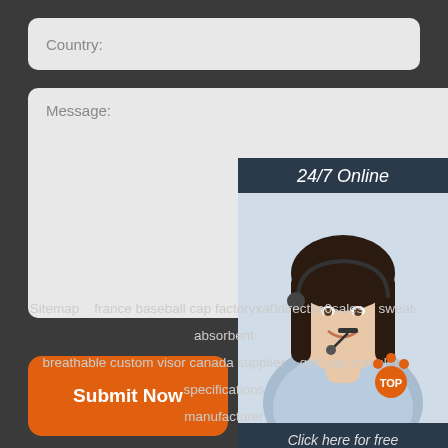Country:
Message:
[Figure (photo): 24/7 Online customer service representative chat widget with photo of woman with headset, 'Click here for free chat!' text, and QUOTATION button]
Submit Now
Sitemap   france baseball cap factoryxa0directxa0sales   sweat-absorbent breathable custom visor canada supplier   golf cap complete specifications manufacturer